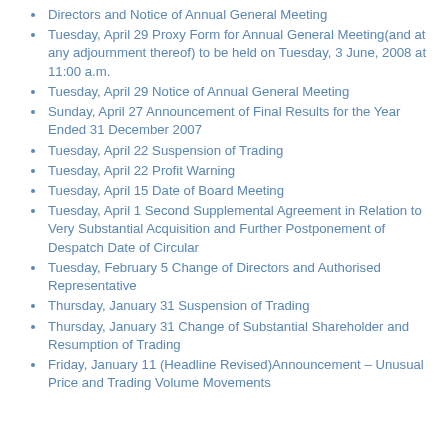Directors and Notice of Annual General Meeting
Tuesday, April 29 Proxy Form for Annual General Meeting(and at any adjournment thereof) to be held on Tuesday, 3 June, 2008 at 11:00 a.m.
Tuesday, April 29 Notice of Annual General Meeting
Sunday, April 27 Announcement of Final Results for the Year Ended 31 December 2007
Tuesday, April 22 Suspension of Trading
Tuesday, April 22 Profit Warning
Tuesday, April 15 Date of Board Meeting
Tuesday, April 1 Second Supplemental Agreement in Relation to Very Substantial Acquisition and Further Postponement of Despatch Date of Circular
Tuesday, February 5 Change of Directors and Authorised Representative
Thursday, January 31 Suspension of Trading
Thursday, January 31 Change of Substantial Shareholder and Resumption of Trading
Friday, January 11 (Headline Revised)Announcement – Unusual Price and Trading Volume Movements